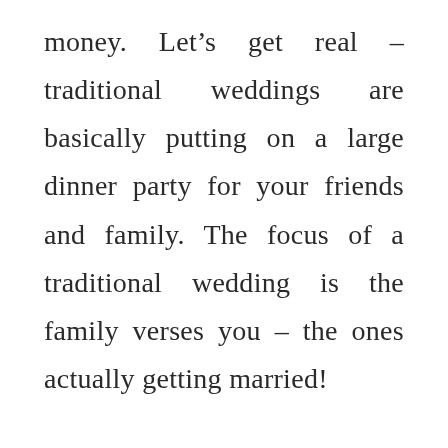money. Let's get real – traditional weddings are basically putting on a large dinner party for your friends and family. The focus of a traditional wedding is the family verses you – the ones actually getting married!